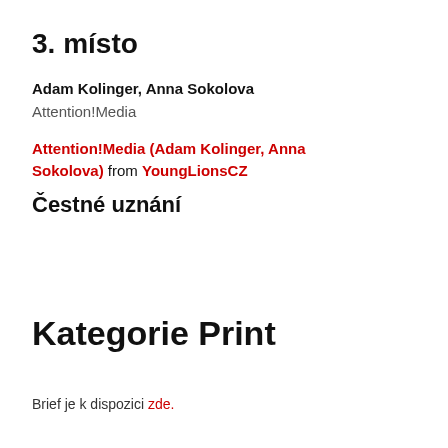3. místo
Adam Kolinger, Anna Sokolova
Attention!Media
Attention!Media (Adam Kolinger, Anna Sokolova) from YoungLionsCZ
Čestné uznání
Kategorie Print
Brief je k dispozici zde.